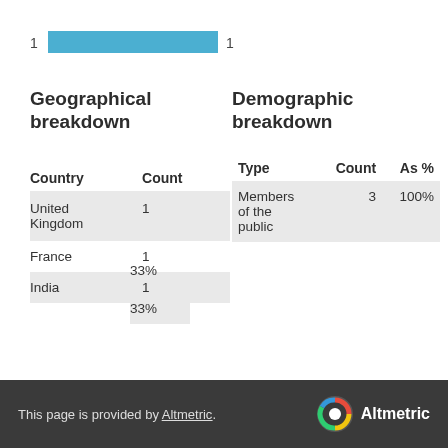[Figure (bar-chart): Score bar]
Geographical breakdown
Demographic breakdown
| Country | Count |
| --- | --- |
| United Kingdom | 1 |
| France | 1 |
| India | 1 |
| Type | Count | As % |
| --- | --- | --- |
| Members of the public | 3 | 100% |
France 33%
India 33%
This page is provided by Altmetric.